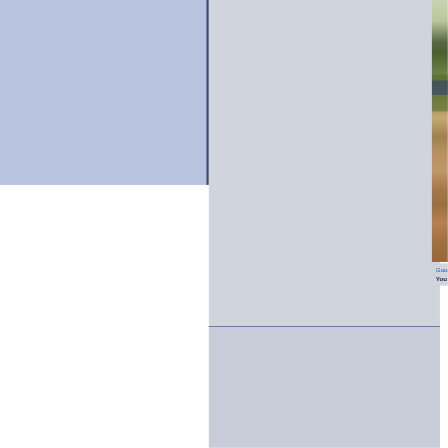[Figure (photo): Left side panel with light blue/periwinkle background, no content visible]
[Figure (photo): Race photo showing runners at the start of a race on a baseball field/stadium track surface. Runners wearing race bibs including number 19, running on a clay/dirt track with green grass in background and stadium advertising banners visible.]
Google satellite View of race start
You have 11 days, 5 hours, 20 minut
[Figure (photo): Partial view of a second photo at the bottom, appears to show runners on a wooded or tree-lined course, blurred/out of focus green tones]